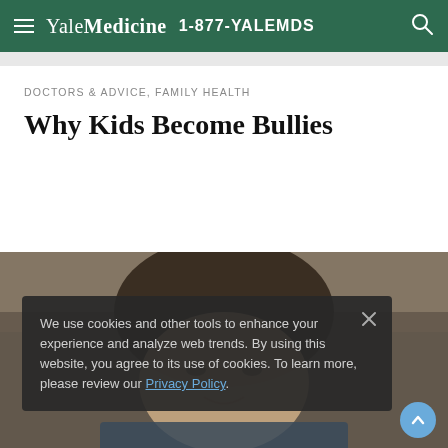Yale Medicine 1-877-YALEMDS
DOCTORS & ADVICE, FAMILY HEALTH
Why Kids Become Bullies
[Figure (photo): Close-up photo of a young boy with brown hair, slightly blurred background.]
We use cookies and other tools to enhance your experience and analyze web trends. By using this website, you agree to its use of cookies. To learn more, please review our Privacy Policy.